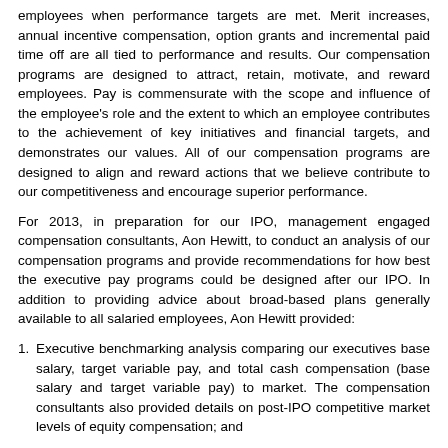employees when performance targets are met. Merit increases, annual incentive compensation, option grants and incremental paid time off are all tied to performance and results. Our compensation programs are designed to attract, retain, motivate, and reward employees. Pay is commensurate with the scope and influence of the employee's role and the extent to which an employee contributes to the achievement of key initiatives and financial targets, and demonstrates our values. All of our compensation programs are designed to align and reward actions that we believe contribute to our competitiveness and encourage superior performance.
For 2013, in preparation for our IPO, management engaged compensation consultants, Aon Hewitt, to conduct an analysis of our compensation programs and provide recommendations for how best the executive pay programs could be designed after our IPO. In addition to providing advice about broad-based plans generally available to all salaried employees, Aon Hewitt provided:
Executive benchmarking analysis comparing our executives base salary, target variable pay, and total cash compensation (base salary and target variable pay) to market. The compensation consultants also provided details on post-IPO competitive market levels of equity compensation; and
Review of executive employment agreements for competitiveness and compliance with institutional shareholder advisor and general market governance requirements. Aon Hewitt also provided recommendations regarding the competitiveness of the employment agreements against